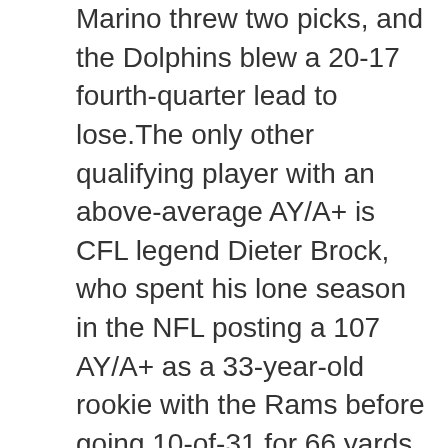Marino threw two picks, and the Dolphins blew a 20-17 fourth-quarter lead to lose.The only other qualifying player with an above-average AY/A+ is CFL legend Dieter Brock, who spent his lone season in the NFL posting a 107 AY/A+ as a 33-year-old rookie with the Rams before going 10-of-31 for 66 yards with a pick against the "85 Bears in the conference championship game, after which Brock retired with a back injury. Following Brock is Joe Flacco, who posted a 99 AY/A+ (average is 100) in 2008 and then went 2-1 in the playoffs despite averaging all of 140.3 passing yards per game. The Steelers harassed him into a three-interception day in the AFC Championship Game.
Many of these quarterbacks played like stars as rookies and turned into franchise quarterbacks after their rookie campaign. Almost all of them struggled to avoid giveaways against the tougher competition of the postseason, and it eventually sunk most of